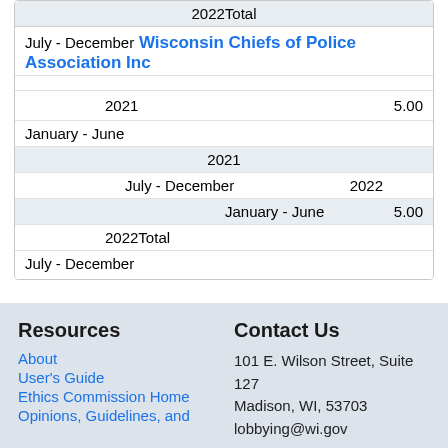| Period | Amount |
| --- | --- |
| 2022Total |  |
| July - December  Wisconsin Chiefs of Police Association Inc |  |
| 2021  January - June | 5.00 |
| 2021  July - December |  |
| 2022  January - June | 5.00 |
| 2022Total  July - December |  |
Resources
About
User's Guide
Ethics Commission Home
Opinions, Guidelines, and
Contact Us
101 E. Wilson Street, Suite 127
Madison, WI, 53703
lobbying@wi.gov